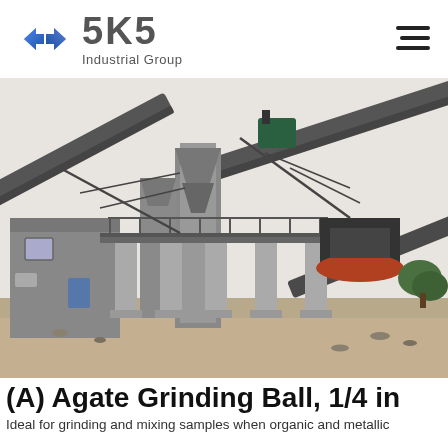[Figure (logo): SKS Industrial Group logo with blue angular S-shaped icon and gray text]
[Figure (photo): Industrial crushing and grinding plant facility with conveyor belts, a building, and heavy machinery mounted on concrete pillars]
(A) Agate Grinding Ball, 1/4 in
Ideal for grinding and mixing samples when organic and metallic